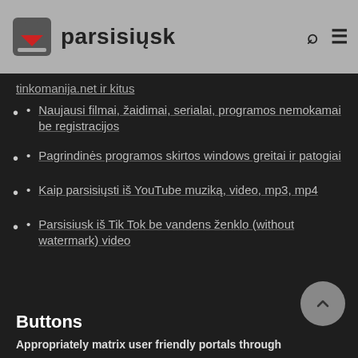parsisiųsk
tinkomanija.net ir kitus
Naujausi filmai, žaidimai, serialai, programos nemokamai be registracijos
Pagrindinės programos skirtos windows greitai ir patogiai
Kaip parsisiųsti iš YouTube muziką, video, mp3, mp4
Parsisiusk iš Tik Tok be vandens ženklo (without watermark) video
Buttons
Appropriately matrix user friendly portals through